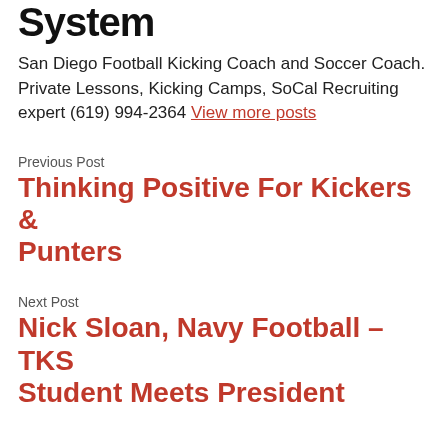System
San Diego Football Kicking Coach and Soccer Coach. Private Lessons, Kicking Camps, SoCal Recruiting expert (619) 994-2364 View more posts
Previous Post
Thinking Positive For Kickers & Punters
Next Post
Nick Sloan, Navy Football – TKS Student Meets President